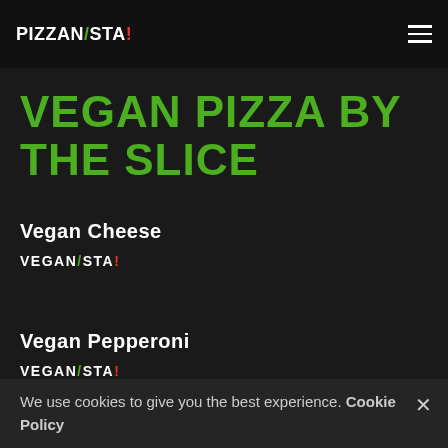PIZZAN/STA!
VEGAN PIZZA BY THE SLICE
Vegan Cheese
[Figure (logo): VEGAN/STA! logo in white with green slash and red exclamation mark]
Vegan Pepperoni
[Figure (logo): VEGAN/STA! logo in white with green slash and red exclamation mark]
We use cookies to give you the best experience. Cookie Policy